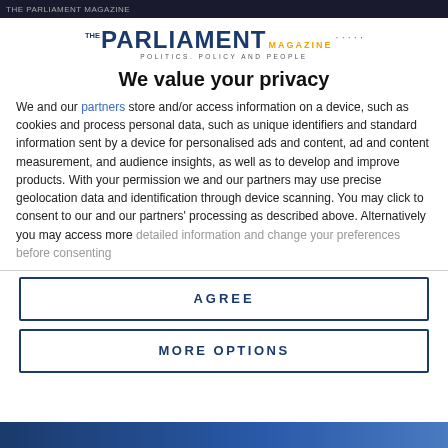THE PARLIAMENT MAGAZINE
[Figure (logo): The Parliament Magazine logo with tagline 'Politics, Policy and People' and decorative dots]
We value your privacy
We and our partners store and/or access information on a device, such as cookies and process personal data, such as unique identifiers and standard information sent by a device for personalised ads and content, ad and content measurement, and audience insights, as well as to develop and improve products. With your permission we and our partners may use precise geolocation data and identification through device scanning. You may click to consent to our and our partners' processing as described above. Alternatively you may access more detailed information and change your preferences before consenting
AGREE
MORE OPTIONS